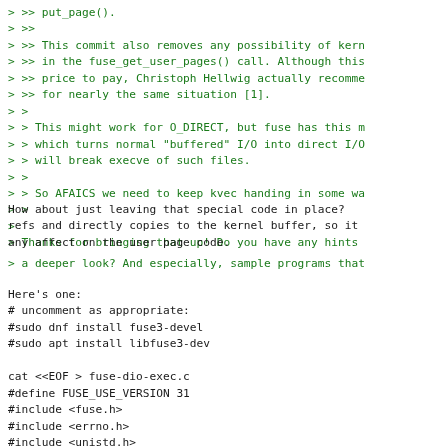> >> put_page().
> >>
> >> This commit also removes any possibility of ker
> >> in the fuse_get_user_pages() call. Although thi
> >> price to pay, Christoph Hellwig actually recomme
> >> for nearly the same situation [1].
> >
> > This might work for O_DIRECT, but fuse has this m
> > which turns normal "buffered" I/O into direct I/O
> > will break execve of such files.
> >
> > So AFAICS we need to keep kvec handing in some wa
> >
>
> Thanks for bringing that up! Do you have any hints
How about just leaving that special code in place? refs and directly copies to the kernel buffer, so it any affect on the user page code.
> a deeper look? And especially, sample programs tha
Here's one:
# uncomment as appropriate:
#sudo dnf install fuse3-devel
#sudo apt install libfuse3-dev

cat <<EOF > fuse-dio-exec.c
#define FUSE_USE_VERSION 31
#include <fuse.h>
#include <errno.h>
#include <unistd.h>